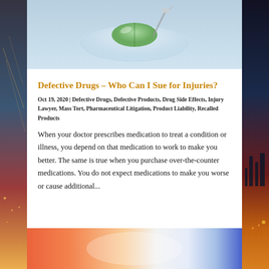[Figure (photo): Close-up photo of a green pill/tablet in a glass dish with a syringe, medical/pharmaceutical imagery]
Defective Drugs – Who Can I Sue for Injuries?
Oct 19, 2020 | Defective Drugs, Defective Products, Drug Side Effects, Injury Lawyer, Mass Tort, Pharmaceutical Litigation, Product Liability, Recalled Products
When your doctor prescribes medication to treat a condition or illness, you depend on that medication to work to make you better. The same is true when you purchase over-the-counter medications. You do not expect medications to make you worse or cause additional...
[Figure (photo): Blurred colorful image, partial view at bottom of page, orange, white and blue tones]